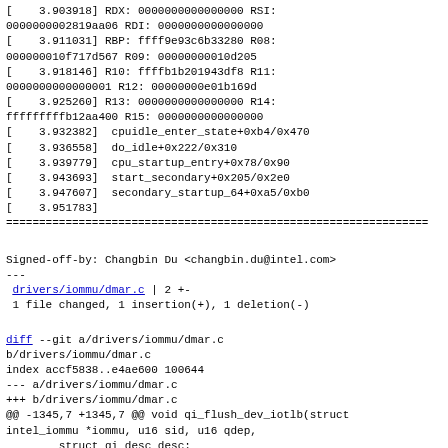[    3.903918] RDX: 0000000000000000 RSI:
0000000002819aa06 RDI: 0000000000000000
[    3.911031] RBP: ffff9e93c6b33280 R08:
000000010f717d567 R09: 00000000010d205
[    3.918146] R10: ffffb1b201943df8 R11:
0000000000000001 R12: 00000000e01b169d
[    3.925260] R13: 0000000000000000 R14:
fffffffffb12aa400 R15: 0000000000000000
[    3.932382]  cpuidle_enter_state+0xb4/0x470
[    3.936558]  do_idle+0x222/0x310
[    3.939779]  cpu_startup_entry+0x78/0x90
[    3.943693]  start_secondary+0x205/0x2e0
[    3.947607]  secondary_startup_64+0xa5/0xb0
[    3.951783]
================================================================
Signed-off-by: Changbin Du <changbin.du@intel.com>
---
 drivers/iommu/dmar.c | 2 +-
 1 file changed, 1 insertion(+), 1 deletion(-)
diff --git a/drivers/iommu/dmar.c
b/drivers/iommu/dmar.c
index accf5838..e4ae600 100644
--- a/drivers/iommu/dmar.c
+++ b/drivers/iommu/dmar.c
@@ -1345,7 +1345,7 @@ void qi_flush_dev_iotlb(struct
intel_iommu *iommu, u16 sid, u16 qdep,
        struct qi_desc desc;